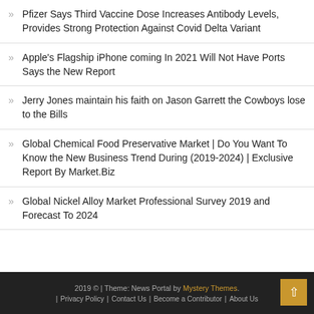Pfizer Says Third Vaccine Dose Increases Antibody Levels, Provides Strong Protection Against Covid Delta Variant
Apple's Flagship iPhone coming In 2021 Will Not Have Ports Says the New Report
Jerry Jones maintain his faith on Jason Garrett the Cowboys lose to the Bills
Global Chemical Food Preservative Market | Do You Want To Know the New Business Trend During (2019-2024) | Exclusive Report By Market.Biz
Global Nickel Alloy Market Professional Survey 2019 and Forecast To 2024
2019 © | Theme: News Portal by Mystery Themes. | Privacy Policy | Contact Us | Become a Contributor | About Us